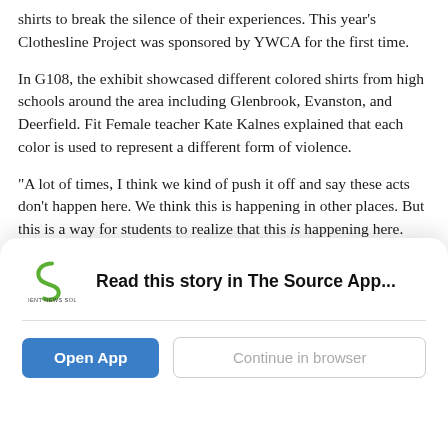shirts to break the silence of their experiences. This year's Clothesline Project was sponsored by YWCA for the first time.
In G108, the exhibit showcased different colored shirts from high schools around the area including Glenbrook, Evanston, and Deerfield. Fit Female teacher Kate Kalnes explained that each color is used to represent a different form of violence.
“A lot of times, I think we kind of push it off and say these acts don’t happen here. We think this is happening in other places. But this is a way for students to realize that this is happening here. This is happening to our peers,” she said.
This mindset is what helped form the New Trier Students Demand Change last Spring. They hosted weekly meetings with coordinators
[Figure (logo): Student News Source logo — green swirl S icon above text 'STUDENT NEWS SOURCE']
Read this story in The Source App...
Open App
Continue in browser